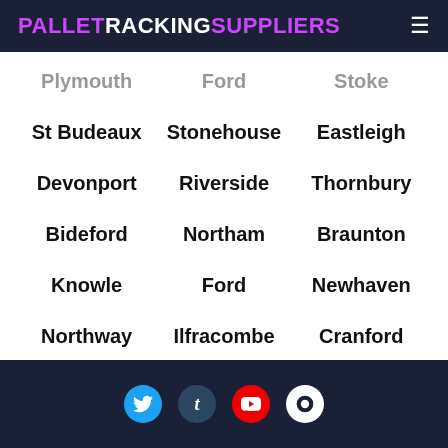PALLETRACKINGSUPPLIERS
Plymouth
Ford
Stoke
St Budeaux
Stonehouse
Eastleigh
Devonport
Riverside
Thornbury
Bideford
Northam
Braunton
Knowle
Ford
Newhaven
Northway
Ilfracombe
Cranford
Stoke
Social media icons: Twitter, Tumblr, YouTube, Other